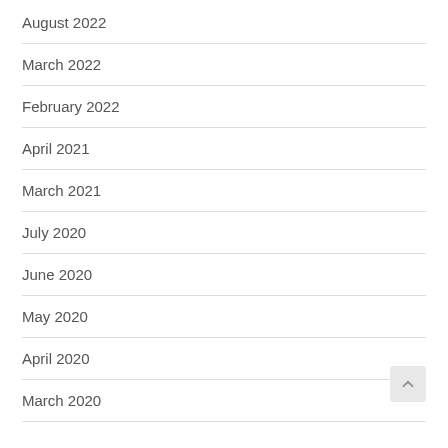August 2022
March 2022
February 2022
April 2021
March 2021
July 2020
June 2020
May 2020
April 2020
March 2020